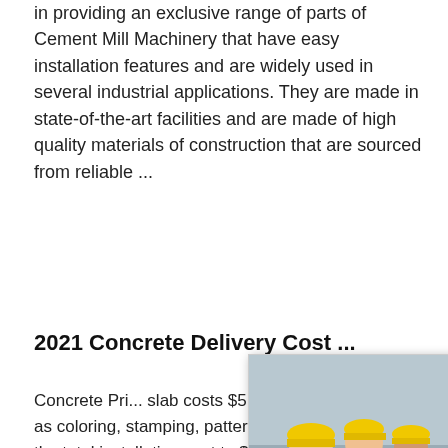in providing an exclusive range of parts of Cement Mill Machinery that have easy installation features and are widely used in several industrial applications. They are made in state-of-the-art facilities and are made of high quality materials of construction that are sourced from reliable ...
2021 Concrete Delivery Cost ...Hrs Online
Concrete Pri... slab costs $5... concrete qua... as coloring, stamping, patterns, or specia... the total installation cost to $8 to $18 per... foot.However, most concrete
[Figure (screenshot): Live chat popup overlay with workers in yellow hard hats, LIVE CHAT text in red, 'Click for a Free Consultation' subtitle, Chat now and Chat later buttons]
[Figure (photo): Right-side panel showing agent with headset, 'Need questions & suggestion? Chat Now' box, and Enquire button]
<< Previous:Red Rhino Mini Crushers Fo...
>> Next:Design Of Gypsum Production P...